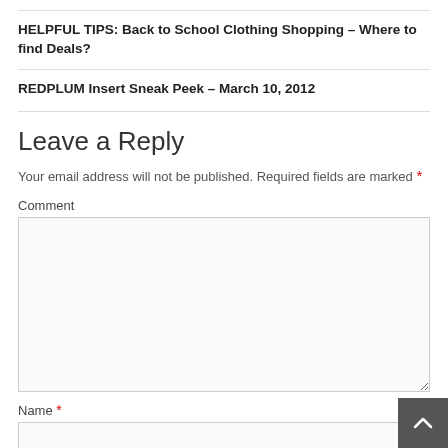HELPFUL TIPS: Back to School Clothing Shopping – Where to find Deals?
REDPLUM Insert Sneak Peek – March 10, 2012
Leave a Reply
Your email address will not be published. Required fields are marked *
Comment
Name *